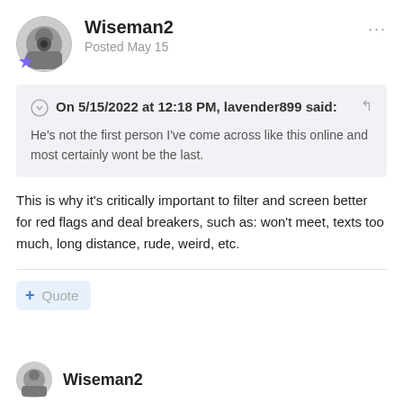Wiseman2
Posted May 15
On 5/15/2022 at 12:18 PM, lavender899 said:
He's not the first person I've come across like this online and most certainly wont be the last.
This is why it's critically important to filter and screen better for red flags and deal breakers, such as: won't meet, texts too much, long distance, rude, weird, etc.
+ Quote
Wiseman2